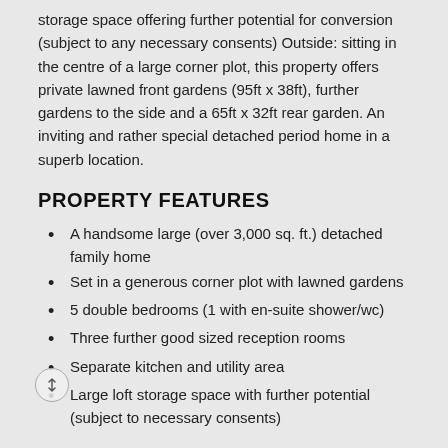storage space offering further potential for conversion (subject to any necessary consents) Outside: sitting in the centre of a large corner plot, this property offers private lawned front gardens (95ft x 38ft), further gardens to the side and a 65ft x 32ft rear garden. An inviting and rather special detached period home in a superb location.
PROPERTY FEATURES
A handsome large (over 3,000 sq. ft.) detached family home
Set in a generous corner plot with lawned gardens
5 double bedrooms (1 with en-suite shower/wc)
Three further good sized reception rooms
Separate kitchen and utility area
Large loft storage space with further potential (subject to necessary consents)